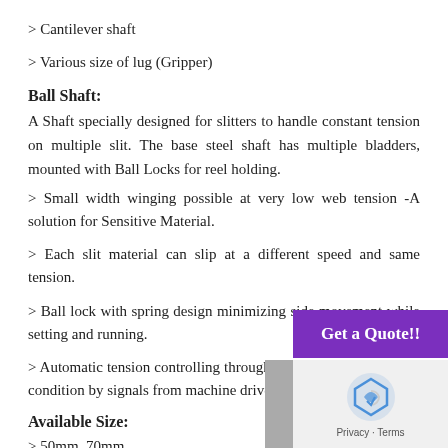> Cantilever shaft
> Various size of lug (Gripper)
Ball Shaft:
A Shaft specially designed for slitters to handle constant tension on multiple slit. The base steel shaft has multiple bladders, mounted with Ball Locks for reel holding.
> Small width winging possible at very low web tension -A solution for Sensitive Material.
> Each slit material can slip at a different speed and same tension.
> Ball lock with spring design minimizing side movement while setting and running.
> Automatic tension controlling through rotary union in dynamic condition by signals from machine drive.
Available Size:
> 50mm, 70mm